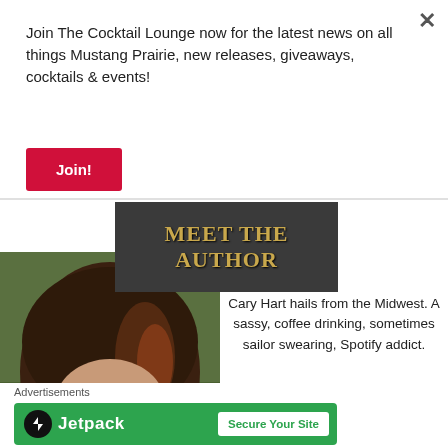Join The Cocktail Lounge now for the latest news on all things Mustang Prairie, new releases, giveaways, cocktails & events!
Join!
[Figure (illustration): Dark grey banner with gold serif text reading MEET THE AUTHOR]
[Figure (photo): Author photo showing a woman with dark brown hair outdoors with green background]
Cary Hart hails from the Midwest. A sassy, coffee drinking, sometimes sailor swearing, Spotify addict.
Advertisements
[Figure (other): Jetpack advertisement banner with green background, Jetpack logo and Secure Your Site button]